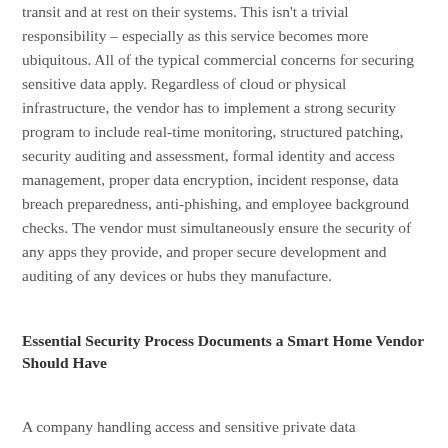transit and at rest on their systems. This isn't a trivial responsibility – especially as this service becomes more ubiquitous. All of the typical commercial concerns for securing sensitive data apply. Regardless of cloud or physical infrastructure, the vendor has to implement a strong security program to include real-time monitoring, structured patching, security auditing and assessment, formal identity and access management, proper data encryption, incident response, data breach preparedness, anti-phishing, and employee background checks. The vendor must simultaneously ensure the security of any apps they provide, and proper secure development and auditing of any devices or hubs they manufacture.
Essential Security Process Documents a Smart Home Vendor Should Have
A company handling access and sensitive private data